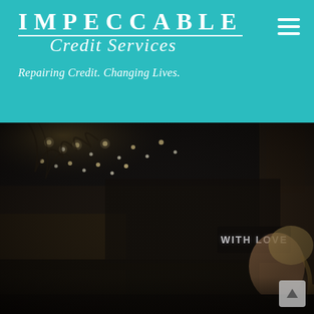IMPECCABLE Credit Services
Repairing Credit. Changing Lives.
[Figure (photo): A blonde woman working at a counter in a dark, warmly decorated shop interior. String lights and floral decorations hang from the ceiling. A neon sign in the background reads 'WITH LOVE'. The woman is looking downward, focused on something below frame.]